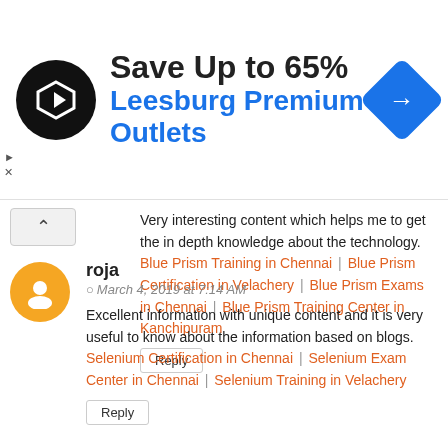[Figure (infographic): Advertisement banner: Save Up to 65% Leesburg Premium Outlets with logo and direction icon]
Very interesting content which helps me to get the in depth knowledge about the technology. Blue Prism Training in Chennai | Blue Prism Certification in Velachery | Blue Prism Exams in Chennai | Blue Prism Training Center in Kanchipuram
Reply
roja
March 4, 2019 at 7:14 AM
Excellent information with unique content and it is very useful to know about the information based on blogs. Selenium Certification in Chennai | Selenium Exam Center in Chennai | Selenium Training in Velachery
Reply
Jasmine